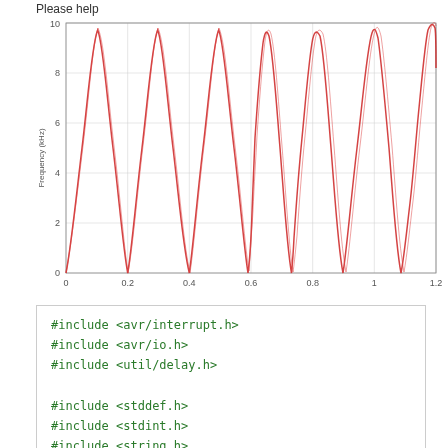Please help
[Figure (continuous-plot): Sinusoidal waveform plot showing frequency (kHz) on y-axis (0 to 10) vs time on x-axis (0 to 1.2). Red oscillating sine wave with approximately 10 full cycles visible. Y-axis labeled 'Frequency (kHz)' and x-axis shows values 0, 0.2, 0.4, 0.6, 0.8, 1, 1.2. Gridlines at y=2,4,6,8,10 and vertical gridlines.]
#include <avr/interrupt.h>
#include <avr/io.h>
#include <util/delay.h>

#include <stddef.h>
#include <stdint.h>
#include <string.h>